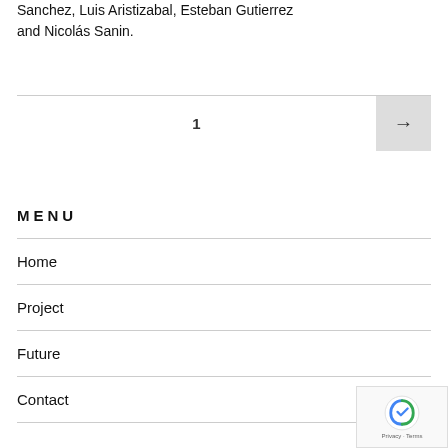Sanchez, Luis Aristizabal, Esteban Gutierrez and Nicolás Sanin.
1
MENU
Home
Project
Future
Contact